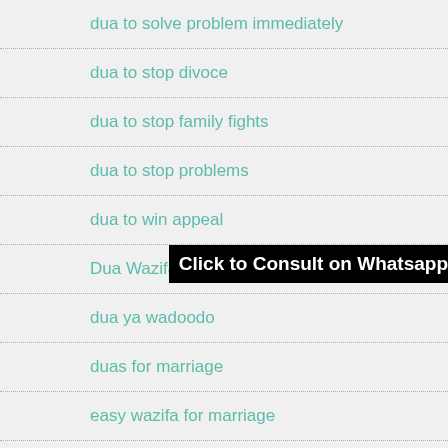dua to solve problem immediately
dua to stop divoce
dua to stop family fights
dua to stop problems
dua to win appeal
Dua Wazifa for Love Com...y
[Figure (other): Black banner overlay with text: Click to Consult on Whatsapp]
dua ya wadoodo
duas for marriage
easy wazifa for marriage
Ek din mein kisi ko apne pyar me karne ki dua